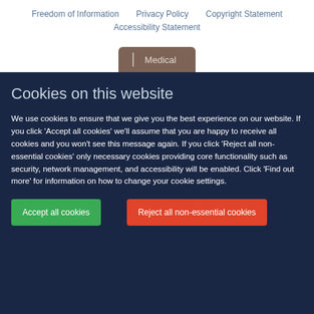Freedom of Information  Privacy Policy  Copyright Statement  Accessibility Statement
[Figure (other): Medical tab label on a brownish-grey rounded tab button]
Cookies on this website
We use cookies to ensure that we give you the best experience on our website. If you click 'Accept all cookies' we'll assume that you are happy to receive all cookies and you won't see this message again. If you click 'Reject all non-essential cookies' only necessary cookies providing core functionality such as security, network management, and accessibility will be enabled. Click 'Find out more' for information on how to change your cookie settings.
Accept all cookies
Reject all non-essential cookies